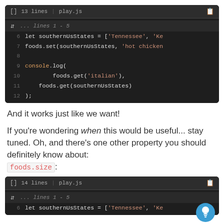[Figure (screenshot): Code editor screenshot showing JavaScript code, 13 lines, play.js file. Lines 1-5 collapsed. Line 6: let southernUsStates = ['Tennessee', 'Ke (truncated). Line 7: foods.set(southernUsStates, 'hot chicken (truncated). Line 8: empty. Line 9: console.log(. Line 10: foods.get('italian'),. Line 11: foods.get(southernUsStates). Line 12: );]
And it works just like we want!
If you're wondering when this would be useful... stay tuned. Oh, and there's one other property you should definitely know about: foods.size:
[Figure (screenshot): Code editor screenshot showing JavaScript code, 14 lines, play.js file. Lines 1-5 collapsed. Line 6: let southernUsStates = ['Tennessee', 'Ke (truncated). Bottom of visible area.]